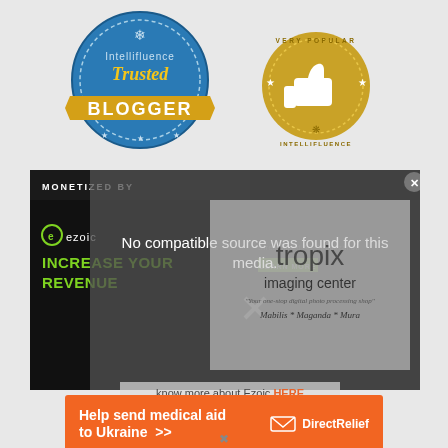[Figure (logo): Intellifluence Trusted Blogger badge - blue circular badge with gold ribbon banner reading BLOGGER]
[Figure (logo): Intellifluence Very Popular badge - gold circular badge with thumbs up icon]
[Figure (screenshot): Monetized by Ezoic section with dark background showing green ezoic logo, text INCREASE YOUR REVENUE, with modal overlay saying No compatible source was found for this media, and Tropix imaging center overlay]
know more about Ezoic HERE
[Figure (infographic): Direct Relief orange banner - Help send medical aid to Ukraine >> with Direct Relief logo]